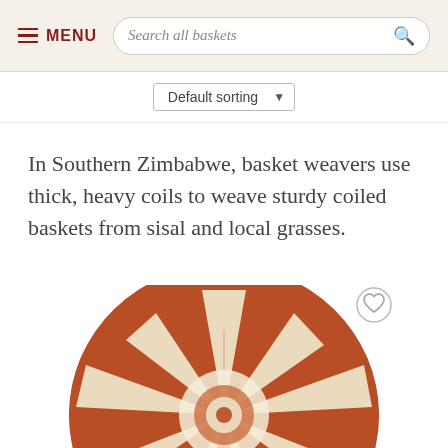MENU  Search all baskets
Default sorting
In Southern Zimbabwe, basket weavers use thick, heavy coils to weave sturdy coiled baskets from sisal and local grasses.
[Figure (photo): A round coiled basket from Southern Zimbabwe, featuring a star/sunburst pattern in cream/natural color on a terracotta/rust-brown background, viewed from above.]